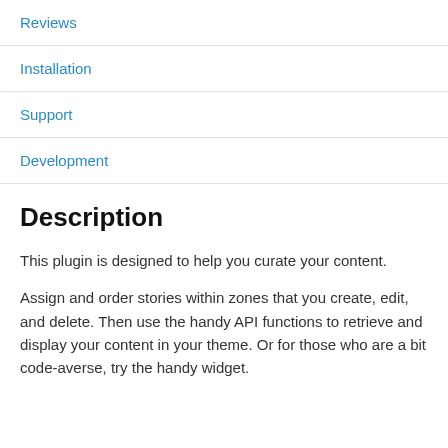Reviews
Installation
Support
Development
Description
This plugin is designed to help you curate your content.
Assign and order stories within zones that you create, edit, and delete. Then use the handy API functions to retrieve and display your content in your theme. Or for those who are a bit code-averse, try the handy widget.